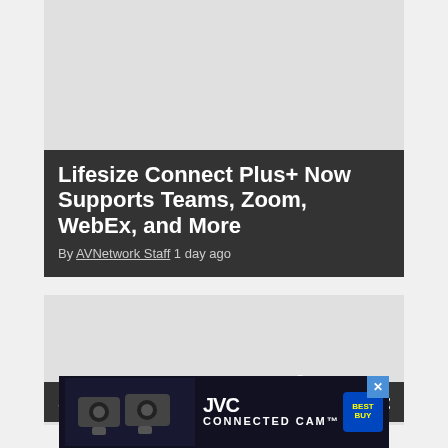[Figure (photo): Article card with gray image placeholder and dark overlay containing article title and byline]
Lifesize Connect Plus+ Now Supports Teams, Zoom, WebEx, and More
By AVNetwork Staff 1 day ago
[Figure (photo): Second article card with gray placeholder and AVNetwork watermark text, partially visible]
5 New KILOVIEW Products to Know...
[Figure (other): JVC Connected Cam advertisement banner at bottom of page]